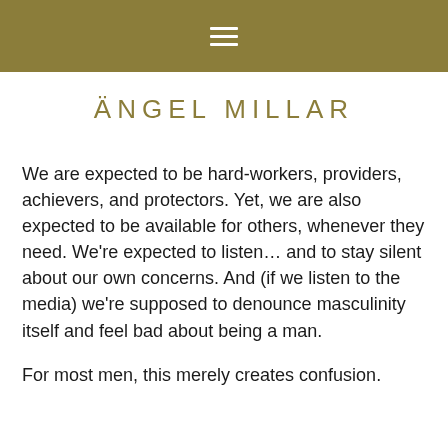≡
ÄNGEL MILLAR
We are expected to be hard-workers, providers, achievers, and protectors. Yet, we are also expected to be available for others, whenever they need. We're expected to listen… and to stay silent about our own concerns. And (if we listen to the media) we're supposed to denounce masculinity itself and feel bad about being a man.
For most men, this merely creates confusion.